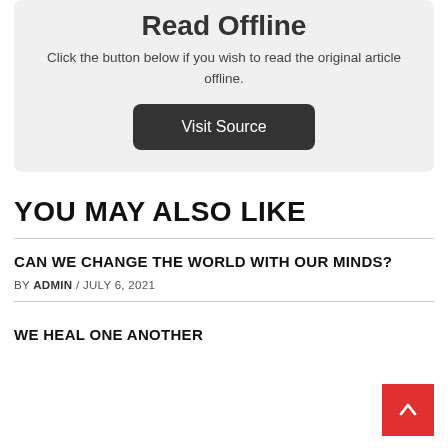Read Offline
Click the button below if you wish to read the original article offline.
Visit Source
YOU MAY ALSO LIKE
CAN WE CHANGE THE WORLD WITH OUR MINDS?
BY ADMIN / JULY 6, 2021
WE HEAL ONE ANOTHER